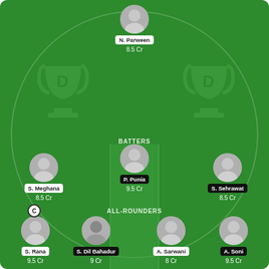[Figure (infographic): Fantasy cricket team selection screen showing a green cricket field with players arranged by position. Top: N. Parween (8.5 Cr) - wicketkeeper. Middle row (BATTERS): S. Meghana (8.5 Cr), P. Punia (9.5 Cr) - highlighted, S. Sehrawat (8.5 Cr). Bottom row (ALL-ROUNDERS): S. Rana (9.5 Cr) - Captain C, S. Dil Bahadur (9 Cr), A. Sarwani (8 Cr), A. Soni (9.5 Cr). Dream11 trophy logos visible as watermarks.]